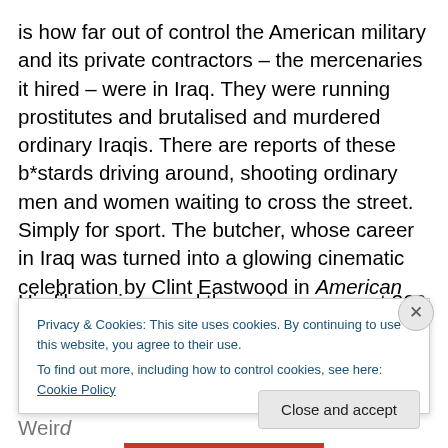is how far out of control the American military and its private contractors – the mercenaries it hired – were in Iraq. They were running prostitutes and brutalised and murdered ordinary Iraqis. There are reports of these b*stards driving around, shooting ordinary men and women waiting to cross the street. Simply for sport. The butcher, whose career in Iraq was turned into a glowing cinematic celebration by Clint Eastwood in American Sniper was a Nazi, who boasted of killing women and children. Yeah, that's who Eastwood decided to promote. His film so incensed the reviewer over at 366 Weird
Privacy & Cookies: This site uses cookies. By continuing to use this website, you agree to their use.
To find out more, including how to control cookies, see here: Cookie Policy
Close and accept